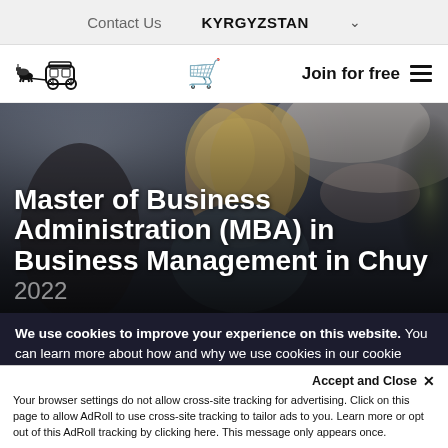Contact Us   KYRGYZSTAN
[Figure (logo): Carriage with horses logo illustration]
Join for free
[Figure (photo): Woman with blonde hair looking at a tablet, sitting in a modern interior setting]
Master of Business Administration (MBA) in Business Management in Chuy 2022
We use cookies to improve your experience on this website. You can learn more about how and why we use cookies in our cookie policy. By using this website, you agree to the use of cookies.
Accept and Close ✕
Your browser settings do not allow cross-site tracking for advertising. Click on this page to allow AdRoll to use cross-site tracking to tailor ads to you. Learn more or opt out of this AdRoll tracking by clicking here. This message only appears once.